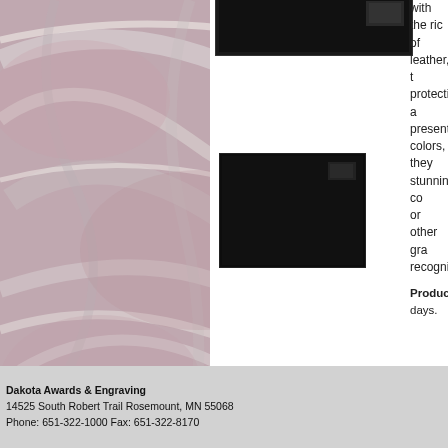[Figure (photo): Marble texture background on the left portion of the page, pinkish-gray swirled marble pattern]
[Figure (photo): Product thumbnail image: black leather certificate/award holder, closed, square shape]
with the ric of leather, t protection a presentatio colors, they stunning co or other gra recognition
Production days.
Share this Award:
[Figure (infographic): Social media share icons: Facebook (blue f), LinkedIn (blue in), Twitter (blue bird), and one more (partially cut off)]
| Prod # | Description |
| --- | --- |
| JCH109 | 12" x 9" |
Go to
Dakota Awards & Engraving
14525 South Robert Trail Rosemount, MN 55068
Phone: 651-322-1000 Fax: 651-322-8170